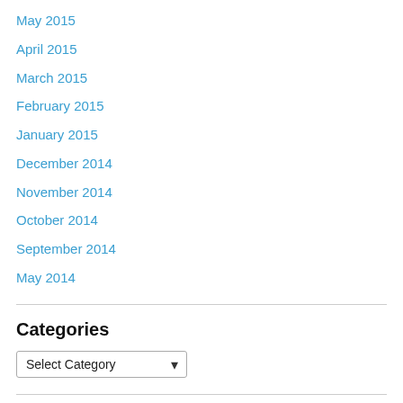May 2015
April 2015
March 2015
February 2015
January 2015
December 2014
November 2014
October 2014
September 2014
May 2014
Categories
Select Category
Subscribe to Blog via Email
Enter your email address to subscribe to this blog and receive